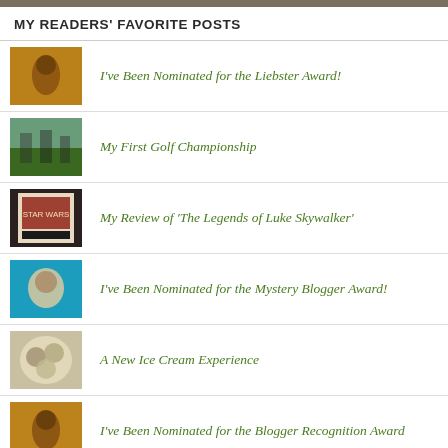MY READERS' FAVORITE POSTS
I've Been Nominated for the Liebster Award!
My First Golf Championship
My Review of 'The Legends of Luke Skywalker'
I've Been Nominated for the Mystery Blogger Award!
A New Ice Cream Experience
I've Been Nominated for the Blogger Recognition Award
I'm Taking a Break